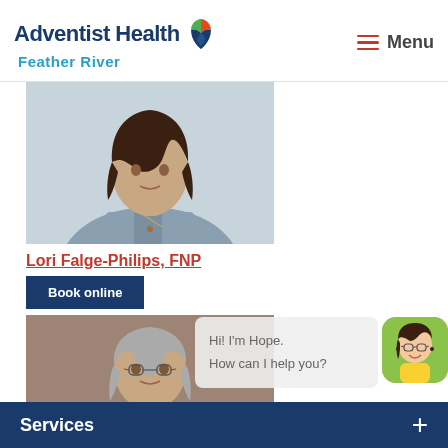[Figure (logo): Adventist Health Feather River logo with colorful leaf/shield icon]
Menu
[Figure (photo): Photo of Lori Falge-Philips, FNP, a woman in gray scrubs]
Lori Falge-Philips, FNP
Book online
[Figure (photo): Photo of a second healthcare provider, older woman with gray hair]
[Figure (illustration): Chatbot avatar named Hope with speech bubble saying Hi! I'm Hope. How can I help you?]
Services +